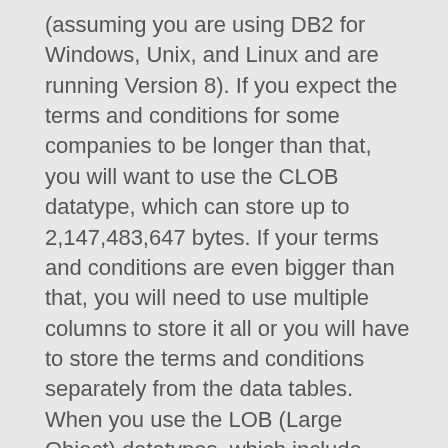(assuming you are using DB2 for Windows, Unix, and Linux and are running Version 8). If you expect the terms and conditions for some companies to be longer than that, you will want to use the CLOB datatype, which can store up to 2,147,483,647 bytes. If your terms and conditions are even bigger than that, you will need to use multiple columns to store it all or you will have to store the terms and conditions separately from the data tables. When you use the LOB (Large Object) datatypes, which include BLOB, CLOB, and DBCLOB, it is possible to simply store a link to a document in the